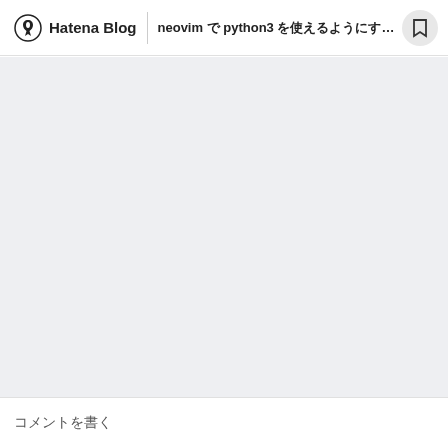Hatena Blog | neovim で python3 を使えるようにする方法...
[Figure (screenshot): Gray background content area, appears to be a loading or blank state of a blog article page]
コメントを書く